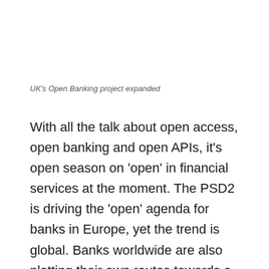UK's Open Banking project expanded
With all the talk about open access, open banking and open APIs, it's open season on ‘open’ in financial services at the moment. The PSD2 is driving the ‘open’ agenda for banks in Europe, yet the trend is global. Banks worldwide are also plotting their own routes towards a more open ecosystem.